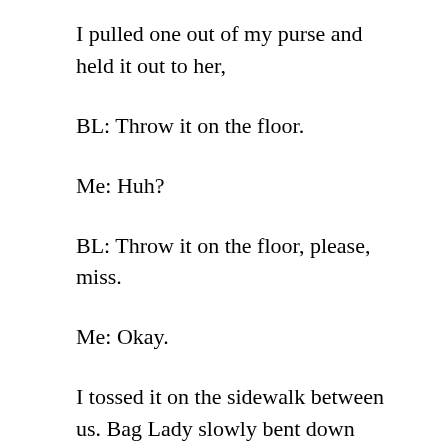I pulled one out of my purse and held it out to her,
BL: Throw it on the floor.
Me: Huh?
BL: Throw it on the floor, please, miss.
Me: Okay.
I tossed it on the sidewalk between us. Bag Lady slowly bent down while walking about halfway around the coffin nail, thereby screwing herself down close enough to the “floor” to pick up her cigarette. She